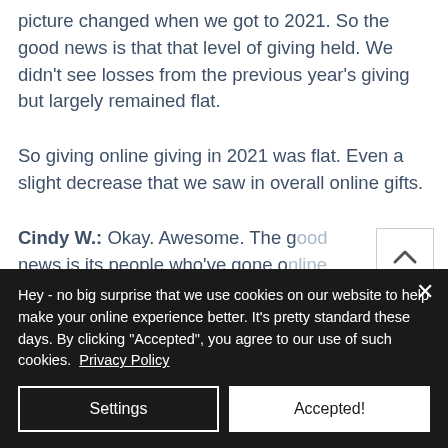picture changed when we got to 2021. So the good news is that that level of giving held. We didn't see losses from the previous year's giving but largely remained flat.
So giving online giving in 2021 was flat. Even a slight decrease that we saw in overall online gifts.
Cindy W.: Okay. Awesome. The good news is its people who've gone online
Hey - no big surprise that we use cookies on our website to help make your online experience better. It's pretty standard these days. By clicking "Accepted", you agree to our use of such cookies.  Privacy Policy
Settings
Accepted!